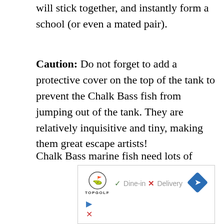will stick together, and instantly form a school (or even a mated pair).
Caution: Do not forget to add a protective cover on the top of the tank to prevent the Chalk Bass fish from jumping out of the tank. They are relatively inquisitive and tiny, making them great escape artists!
Chalk Bass marine fish need lots of rocks and caves in their tank. It’s a good idea to introduce some stones and saltwater plants
[Figure (other): Advertisement banner for Topgolf showing logo, Dine-in checkmark, Delivery X mark, and navigation arrow icon]